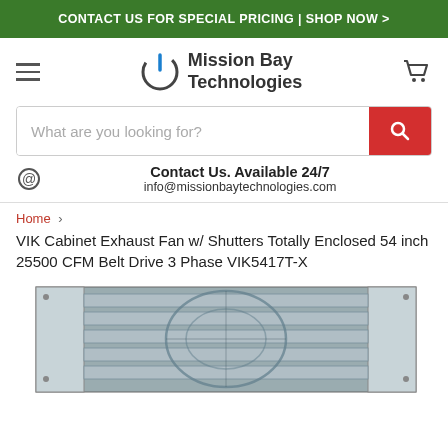CONTACT US FOR SPECIAL PRICING | SHOP NOW >
[Figure (logo): Mission Bay Technologies logo with power button icon]
What are you looking for?
Contact Us. Available 24/7
info@missionbaytechnologies.com
Home > VIK Cabinet Exhaust Fan w/ Shutters Totally Enclosed 54 inch 25500 CFM Belt Drive 3 Phase VIK5417T-X
[Figure (photo): VIK Cabinet Exhaust Fan with shutters, totally enclosed, 54 inch, showing front grille and cabinet housing]